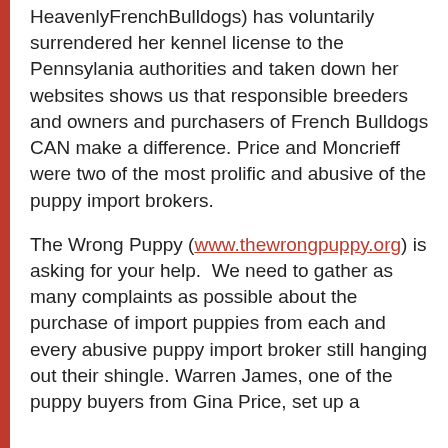HeavenlyFrenchBulldogs) has voluntarily surrendered her kennel license to the Pennsylania authorities and taken down her websites shows us that responsible breeders and owners and purchasers of French Bulldogs CAN make a difference. Price and Moncrieff were two of the most prolific and abusive of the puppy import brokers.
The Wrong Puppy (www.thewrongpuppy.org) is asking for your help. We need to gather as many complaints as possible about the purchase of import puppies from each and every abusive puppy import broker still hanging out their shingle. Warren James, one of the puppy buyers from Gina Price, set up a